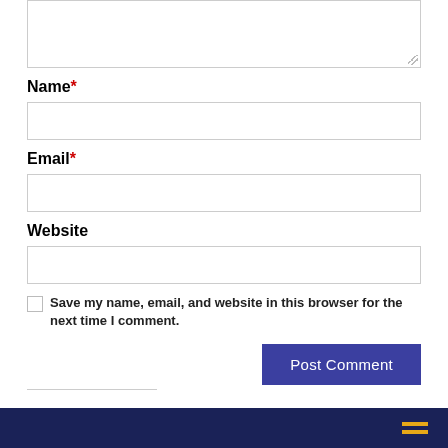[Figure (other): Textarea input box (comment field) with resize handle in bottom-right corner]
Name *
[Figure (other): Name text input field (empty)]
Email *
[Figure (other): Email text input field (empty)]
Website
[Figure (other): Website text input field (empty)]
Save my name, email, and website in this browser for the next time I comment.
[Figure (other): Post Comment button (dark blue/indigo background, white text)]